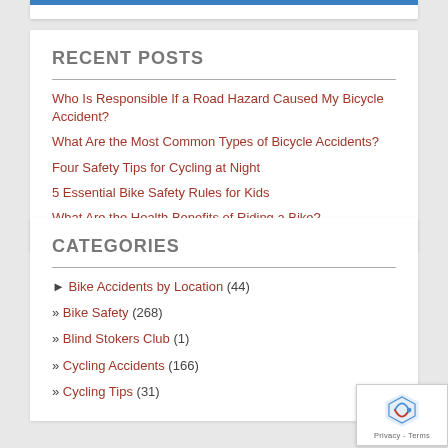RECENT POSTS
Who Is Responsible If a Road Hazard Caused My Bicycle Accident?
What Are the Most Common Types of Bicycle Accidents?
Four Safety Tips for Cycling at Night
5 Essential Bike Safety Rules for Kids
What Are the Health Benefits of Riding a Bike?
CATEGORIES
► Bike Accidents by Location (44)
» Bike Safety (268)
» Blind Stokers Club (1)
» Cycling Accidents (166)
» Cycling Tips (31)